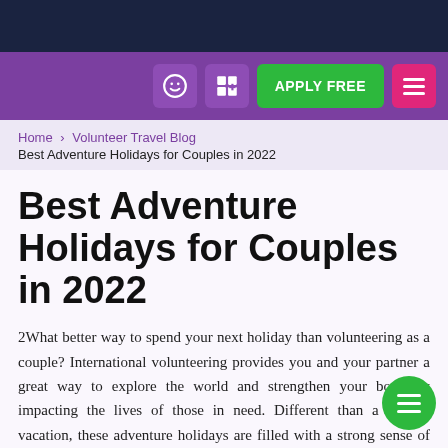Home / Volunteer Travel Blog
Best Adventure Holidays for Couples in 2022
Best Adventure Holidays for Couples in 2022
2What better way to spend your next holiday than volunteering as a couple? International volunteering provides you and your partner a great way to explore the world and strengthen your bond by impacting the lives of those in need. Different than a regular vacation, these adventure holidays are filled with a strong sense of purpose and truly allow you to impact communities